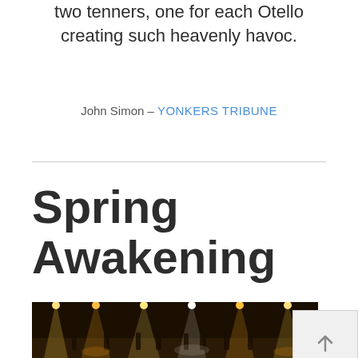two tenners, one for each Otello creating such heavenly havoc.
John Simon – YONKERS TRIBUNE
Spring Awakening
[Figure (photo): Stage performance photo showing actors under dramatic stage lighting with multiple colored spotlights in a dark theater setting]